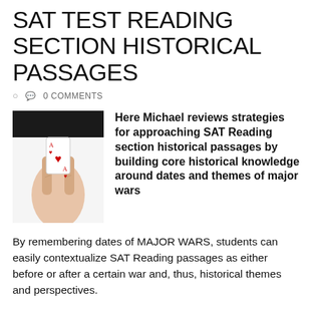SAT TEST READING SECTION HISTORICAL PASSAGES
0 COMMENTS
[Figure (photo): A hand holding an ace of hearts playing card between two fingers against a white background, with a dark sleeve visible at the top.]
Here Michael reviews strategies for approaching SAT Reading section historical passages by building core historical knowledge around dates and themes of major wars
By remembering dates of MAJOR WARS, students can easily contextualize SAT Reading passages as either before or after a certain war and, thus, historical themes and perspectives.